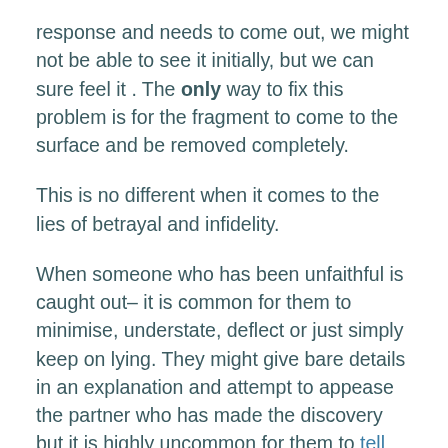response and needs to come out, we might not be able to see it initially, but we can sure feel it. The only way to fix this problem is for the fragment to come to the surface and be removed completely.
This is no different when it comes to the lies of betrayal and infidelity.
When someone who has been unfaithful is caught out– it is common for them to minimise, understate, deflect or just simply keep on lying. They might give bare details in an explanation and attempt to appease the partner who has made the discovery but it is highly uncommon for them to tell the whole truth upfront. The full truth is quite likely to be a tad more shocking, right? They'll probably be thinking along the lines of, "If I can just get through this one, the rest will remain